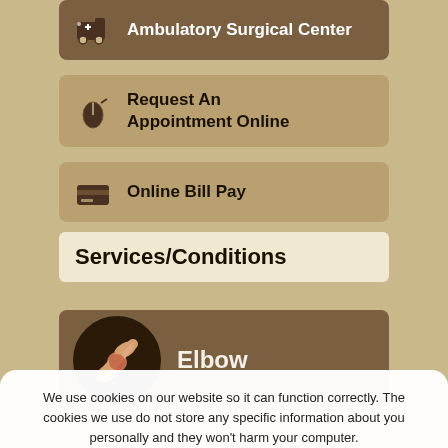[Figure (screenshot): Navigation button with ambulance icon and text 'Ambulatory Surgical Center']
[Figure (screenshot): Navigation button with mouse/cursor icon and text 'Request An Appointment Online']
[Figure (screenshot): Navigation button with credit card icon and text 'Online Bill Pay']
Services/Conditions
[Figure (screenshot): Navigation button with elbow injury image circle and text 'Elbow']
We use cookies on our website so it can function correctly. The cookies we use do not store any specific information about you personally and they won’t harm your computer.
See our privacy policy for more information.
Accept